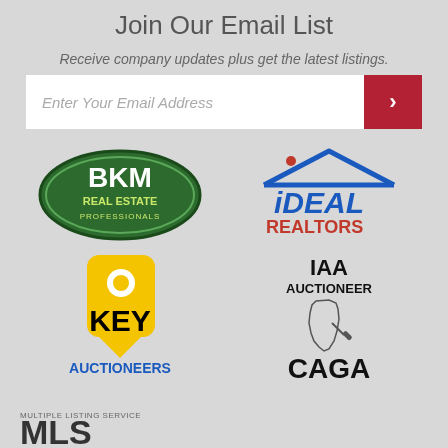Join Our Email List
Receive company updates plus get the latest listings.
[Figure (infographic): Email input field with placeholder 'Enter Your Email Address' and a red submit button with a right chevron arrow]
[Figure (logo): BKM Real Estate Professionals logo - green oval with white text]
[Figure (logo): iDEAL Realtors logo - blue roof/house shape above text, REALTORS in red]
[Figure (logo): Key Auctioneers logo - yellow key tag shape with black KEY text and blue AUCTIONEERS text]
[Figure (logo): IAA Auctioneer CAGA logo - Indiana state outline with auctioneer text and CAGA text]